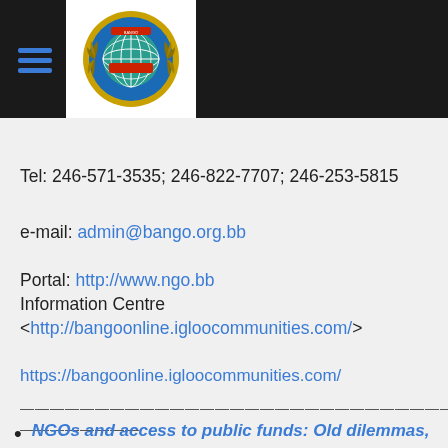[Figure (logo): BANGO organization logo with globe and laurel wreath on dark header bar with hamburger menu icon]
Tel: 246-571-3535; 246-822-7707; 246-253-5815
e-mail: admin@bango.org.bb
Portal: http://www.ngo.bb
Information Centre <http://bangoonline.igloocommunities.com/>
https://bangoonline.igloocommunities.com/
——————————————————————————————————————————————————————————
NGOs and access to public funds: Old dilemmas,